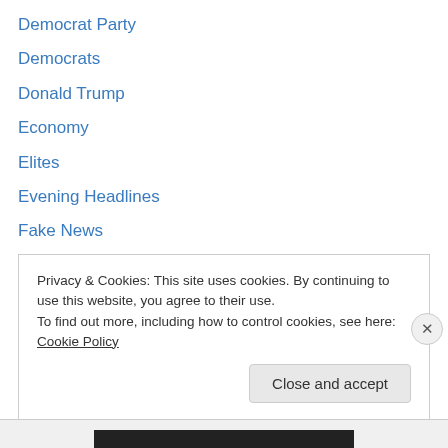Democrat Party
Democrats
Donald Trump
Economy
Elites
Evening Headlines
Fake News
Fox News
From the headlines
Gays
George Soros
Geraldo Rivera
GOP
Privacy & Cookies: This site uses cookies. By continuing to use this website, you agree to their use.
To find out more, including how to control cookies, see here: Cookie Policy
Close and accept